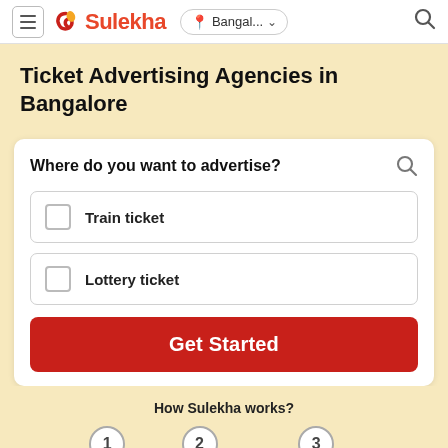[Figure (screenshot): Sulekha website header with hamburger menu, Sulekha logo, Bangal... location pill, and search icon]
Ticket Advertising Agencies in Bangalore
Where do you want to advertise?
Train ticket
Lottery ticket
Get Started
How Sulekha works?
1 Share your
2 Get Multiple
3 Compare, Hire & Get